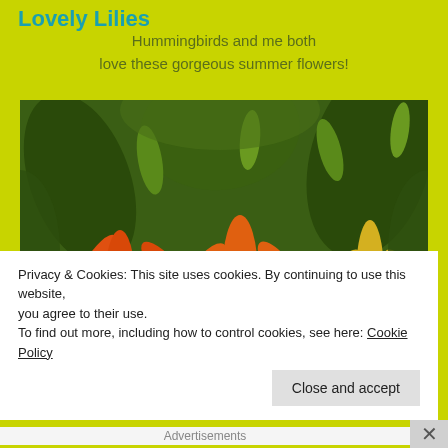Lovely Lilies
Hummingbirds and me both love these gorgeous summer flowers!
[Figure (photo): Close-up photograph of orange and yellow lily flowers in bloom, with green leaves and buds in the background.]
Privacy & Cookies: This site uses cookies. By continuing to use this website, you agree to their use.
To find out more, including how to control cookies, see here: Cookie Policy
Close and accept
Advertisements